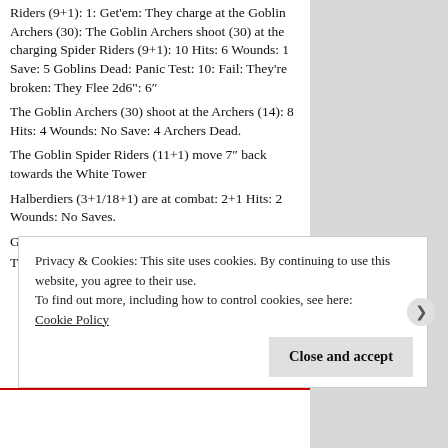Riders (9+1): 1: Get'em: They charge at the Goblin Archers (30): The Goblin Archers shoot (30) at the charging Spider Riders (9+1): 10 Hits: 6 Wounds: 1 Save: 5 Goblins Dead: Panic Test: 10: Fail: They're broken: They Flee 2d6": 6"
The Goblin Archers (30) shoot at the Archers (14): 8 Hits: 4 Wounds: No Save: 4 Archers Dead.
The Goblin Spider Riders (11+1) move 7" back towards the White Tower
Halberdiers (3+1/18+1) are at combat: 2+1 Hits: 2 Wounds: No Saves.
Gigantic spider melee combat: No Hits
The Gigantic spider loses combat: 10: Failure:
Privacy & Cookies: This site uses cookies. By continuing to use this website, you agree to their use.
To find out more, including how to control cookies, see here:
Cookie Policy